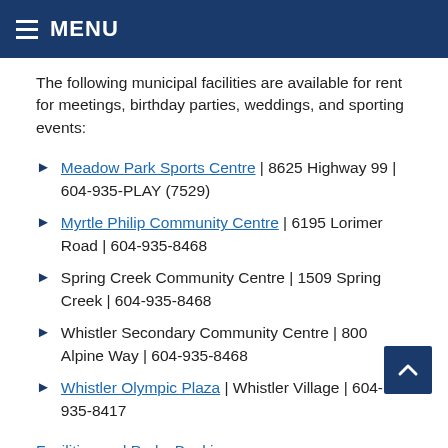MENU
The following municipal facilities are available for rent for meetings, birthday parties, weddings, and sporting events:
Meadow Park Sports Centre | 8625 Highway 99 | 604-935-PLAY (7529)
Myrtle Philip Community Centre | 6195 Lorimer Road | 604-935-8468
Spring Creek Community Centre | 1509 Spring Creek | 604-935-8468
Whistler Secondary Community Centre | 800 Alpine Way | 604-935-8468
Whistler Olympic Plaza | Whistler Village | 604-935-8417
Facilities and Parks Bookings
Recreation and Fitness Facility